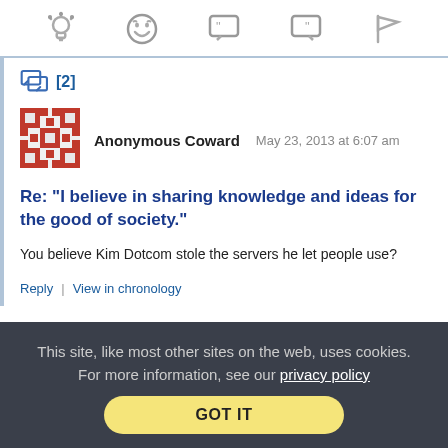[Figure (other): Top navigation icon bar with five icons: lightbulb, laughing face, open-quote speech bubble, close-quote speech bubble, and flag]
[Figure (other): Reply/comment icon with [2] count indicator in blue]
[Figure (other): Anonymous Coward avatar - red and white pixel/pattern square image]
Anonymous Coward   May 23, 2013 at 6:07 am
Re: "I believe in sharing knowledge and ideas for the good of society."
You believe Kim Dotcom stole the servers he let people use?
Reply | View in chronology
This site, like most other sites on the web, uses cookies. For more information, see our privacy policy
GOT IT